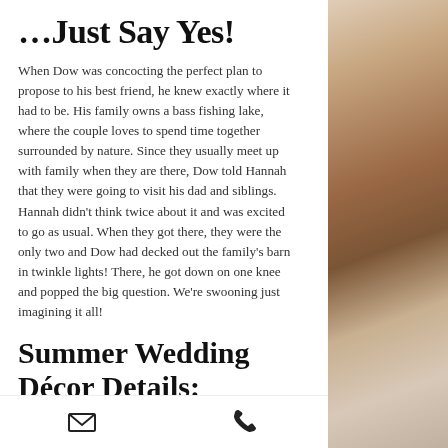…Just Say Yes!
When Dow was concocting the perfect plan to propose to his best friend, he knew exactly where it had to be. His family owns a bass fishing lake, where the couple loves to spend time together surrounded by nature. Since they usually meet up with family when they are there, Dow told Hannah that they were going to visit his dad and siblings. Hannah didn't think twice about it and was excited to go as usual. When they got there, they were the only two and Dow had decked out the family's barn in twinkle lights! There, he got down on one knee and popped the big question. We're swooning just imagining it all!
Summer Wedding Décor Details:
Fast forward to their summer wedding at Great Northern Resort! This venue is always one I recommend because not only do they offer great outdoor and so good
[Figure (other): Right side photo strip showing rocky/mountain scenery and fabric/texture details]
Email icon and phone icon in footer bar